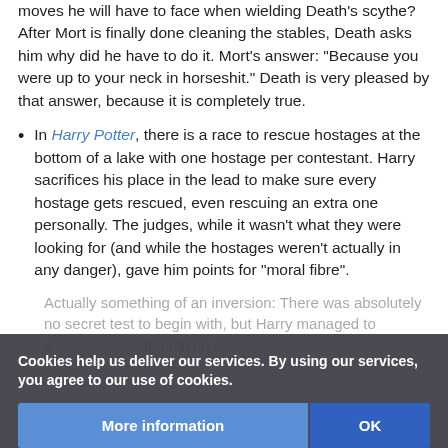moves he will have to face when wielding Death's scythe? After Mort is finally done cleaning the stables, Death asks him why did he have to do it. Mort's answer: "Because you were up to your neck in horseshit." Death is very pleased by that answer, because it is completely true.
In Harry Potter, there is a race to rescue hostages at the bottom of a lake with one hostage per contestant. Harry sacrifices his place in the lead to make sure every hostage gets rescued, even rescuing an extra one personally. The judges, while it wasn't what they were looking for (and while the hostages weren't actually in any danger), gave him points for "moral fibre".
Actually something of an inversion: There was absolutely no secret test to begin with, but Harry managed to e... benefit on it,
Cookies help us deliver our services. By using our services, you agree to our use of cookies.